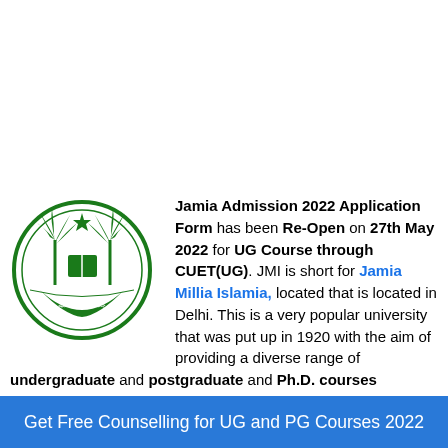Jamia Admission 2022 Application Form has been Re-Open on 27th May 2022 for UG Course through CUET(UG). JMI is short for Jamia Millia Islamia, located that is located in Delhi. This is a very popular university that was put up in 1920 with the aim of providing a diverse range of undergraduate and postgraduate and Ph.D. courses (Engineering, Architecture and Planning, Hospitality and Travel, Animation, Mass Communication, etc.
[Figure (logo): Jamia Millia Islamia university seal/logo — green circular emblem with palm trees, crescent, and Arabic text]
Get Free Counselling for UG and PG Courses 2022